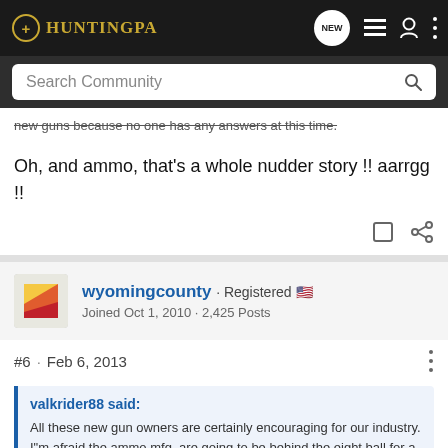HuntingPA - NEW · list icon · user icon · more icon
Search Community
new guns because no one has any answers at this time.
Oh, and ammo, that's a whole nudder story !! aarrgg !!
wyomingcounty · Registered 🇺🇸
Joined Oct 1, 2010 · 2,425 Posts
#6 · Feb 6, 2013
valkrider88 said:
All these new gun owners are certainly encouraging for our industry. I"m afraid the ammo mfg. are going to be behind the eight ball for a